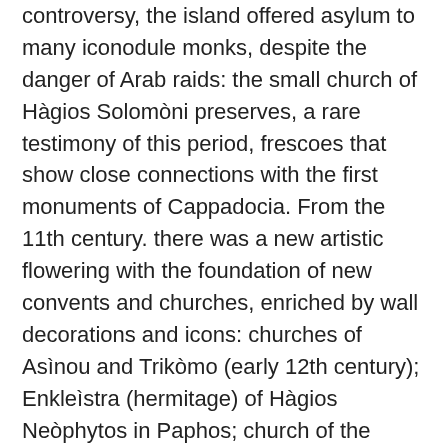controversy, the island offered asylum to many iconodule monks, despite the danger of Arab raids: the small church of Hàgios Solomòni preserves, a rare testimony of this period, frescoes that show close connections with the first monuments of Cappadocia. From the 11th century. there was a new artistic flowering with the foundation of new convents and churches, enriched by wall decorations and icons: churches of Asìnou and Trikòmo (early 12th century); Enkleìstra (hermitage) of Hàgios Neòphytos in Paphos; church of the monastery of Aràkas, Lagoùdera (late 12th century).
With the dominion of the Lusignano, the influence of art and especially of Western architecture, in the forms of French Gothic, is imposed in notable monuments: from the cathedral of Nicosia (13th-14th century; now a mosque) to that of Famagusta (14th century; now mosque), to the churches of SS. Pietro e Paolo (14th century, now a mosque) and of S.